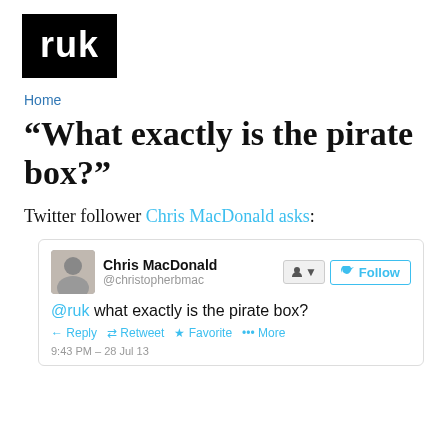[Figure (logo): ruk logo — white lowercase text on black background]
Home
“What exactly is the pirate box?”
Twitter follower Chris MacDonald asks:
[Figure (screenshot): Embedded tweet from @christopherbmac (Chris MacDonald) reading '@ruk what exactly is the pirate box?' posted at 9:43 PM – 28 Jul 13, with Reply, Retweet, Favorite, and More action buttons.]